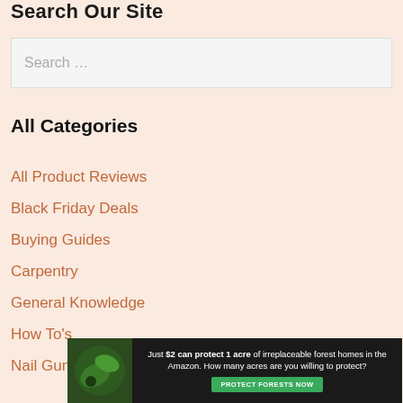Search Our Site
Search …
All Categories
All Product Reviews
Black Friday Deals
Buying Guides
Carpentry
General Knowledge
How To's
Nail Gun Reviews
[Figure (infographic): Advertisement banner: 'Just $2 can protect 1 acre of irreplaceable forest homes in the Amazon. How many acres are you willing to protect?' with a green PROTECT FORESTS NOW button and forest imagery.]